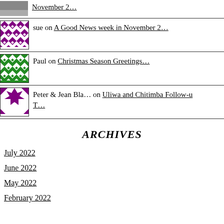November 2…
sue on A Good News week in November 2…
Paul on Christmas Season Greetings…
Peter & Jean Bla… on Uliwa and Chitimba Follow-u T…
ARCHIVES
July 2022
June 2022
May 2022
February 2022